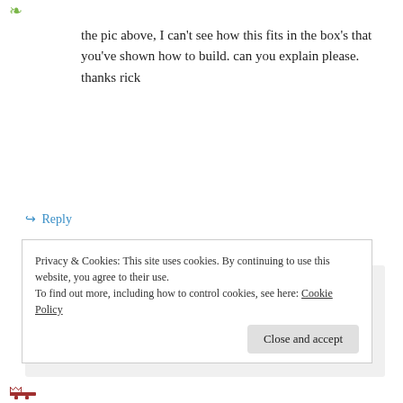[Figure (illustration): Small decorative green leaf/arrow avatar icon at top left]
the pic above, I can't see how this fits in the box's that you've shown how to build. can you explain please. thanks rick
↪ Reply
[Figure (illustration): Bee avatar icon for commenter Nick]
Nick on February 24, 2009 at 6:10 pm
rick – The picture above illustrates the building process of the honeybees as they
Privacy & Cookies: This site uses cookies. By continuing to use this website, you agree to their use.
To find out more, including how to control cookies, see here: Cookie Policy
Close and accept
[Figure (illustration): Small red/brown decorative avatar icon at bottom left]